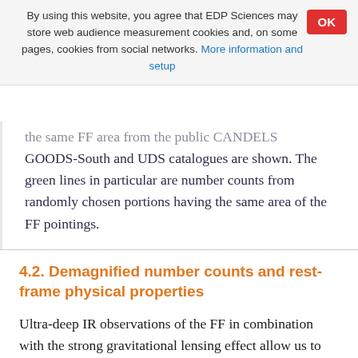By using this website, you agree that EDP Sciences may store web audience measurement cookies and, on some pages, cookies from social networks. More information and setup
the same FF area from the public CANDELS GOODS-South and UDS catalogues are shown. The green lines in particular are number counts from randomly chosen portions having the same area of the FF pointings.
4.2. Demagnified number counts and rest-frame physical properties
Ultra-deep IR observations of the FF in combination with the strong gravitational lensing effect allow us to probe stellar masses and star formation rates at unprecedented low limits. We first determined